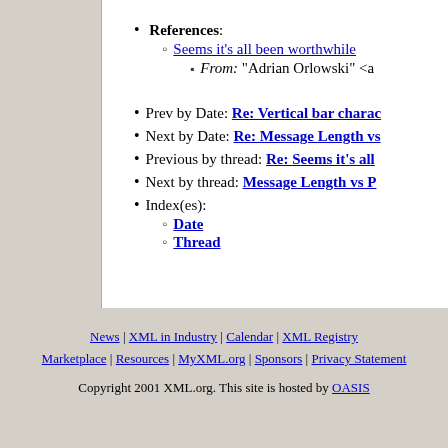References: Seems it's all been worthwhile — From: "Adrian Orlowski" <a...
Prev by Date: Re: Vertical bar charac...
Next by Date: Re: Message Length vs...
Previous by thread: Re: Seems it's all...
Next by thread: Message Length vs P...
Index(es): Date, Thread
News | XML in Industry | Calendar | XML Registry | Marketplace | Resources | MyXML.org | Sponsors | Privacy Statement
Copyright 2001 XML.org. This site is hosted by OASIS